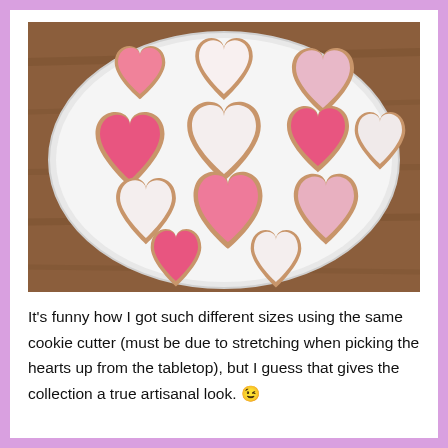[Figure (photo): A white plate on a wooden table surface, holding approximately 12 heart-shaped frosted sugar cookies in pink, light pink, and white/cream icing colors, arranged in a decorative pattern.]
It's funny how I got such different sizes using the same cookie cutter (must be due to stretching when picking the hearts up from the tabletop), but I guess that gives the collection a true artisanal look. 😉